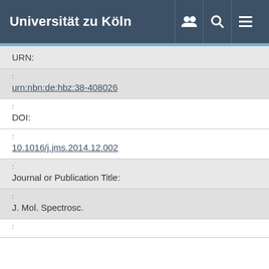Universität zu Köln
| Field | Value |
| --- | --- |
| URN: |  |
| : | urn:nbn:de:hbz:38-408026 |
| : | DOI: |
| : | 10.1016/j.jms.2014.12.002 |
| : | Journal or Publication Title: |
| : | J. Mol. Spectrosc. |
| : |  |